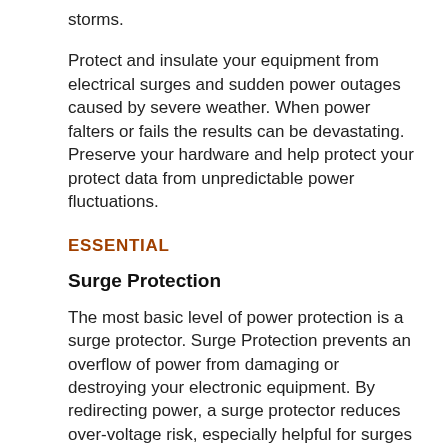storms.
Protect and insulate your equipment from electrical surges and sudden power outages caused by severe weather. When power falters or fails the results can be devastating. Preserve your hardware and help protect your protect data from unpredictable power fluctuations.
ESSENTIAL
Surge Protection
The most basic level of power protection is a surge protector. Surge Protection prevents an overflow of power from damaging or destroying your electronic equipment. By redirecting power, a surge protector reduces over-voltage risk, especially helpful for surges and brownouts where voltage can fluctuate without warning.